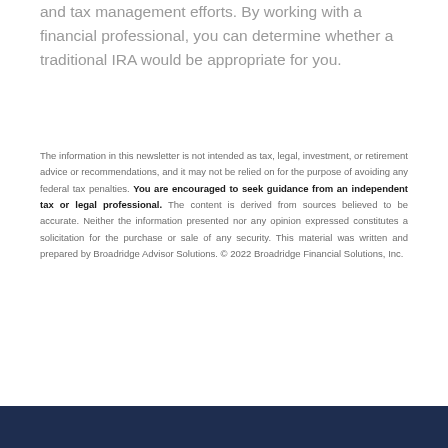and tax management efforts. By working with a financial professional, you can determine whether a traditional IRA would be appropriate for you.
The information in this newsletter is not intended as tax, legal, investment, or retirement advice or recommendations, and it may not be relied on for the purpose of avoiding any federal tax penalties. You are encouraged to seek guidance from an independent tax or legal professional. The content is derived from sources believed to be accurate. Neither the information presented nor any opinion expressed constitutes a solicitation for the purchase or sale of any security. This material was written and prepared by Broadridge Advisor Solutions. © 2022 Broadridge Financial Solutions, Inc.